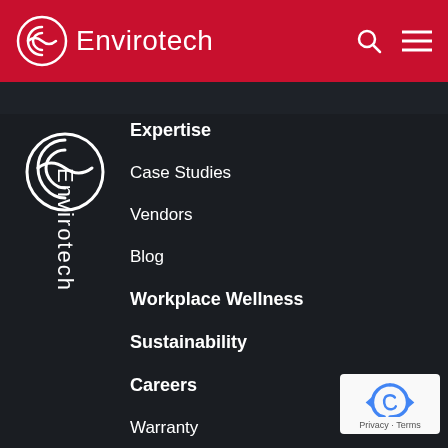Envirotech
Expertise
Case Studies
Vendors
Blog
Workplace Wellness
Sustainability
Careers
Warranty
Privacy